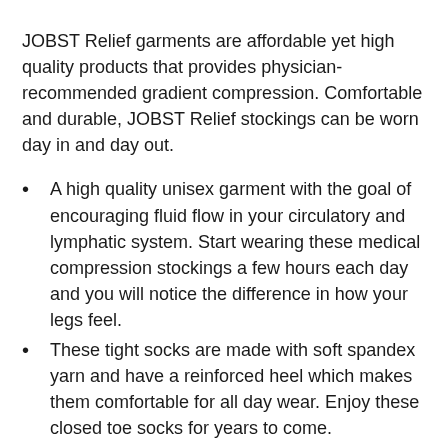JOBST Relief garments are affordable yet high quality products that provides physician-recommended gradient compression. Comfortable and durable, JOBST Relief stockings can be worn day in and day out.
A high quality unisex garment with the goal of encouraging fluid flow in your circulatory and lymphatic system. Start wearing these medical compression stockings a few hours each day and you will notice the difference in how your legs feel.
These tight socks are made with soft spandex yarn and have a reinforced heel which makes them comfortable for all day wear. Enjoy these closed toe socks for years to come.
You may wash your compression hosiery by hand or in a washing machine. To protect the stockings, make sure to place them in a mesh laundry bag and only use warm water and a mild detergent.